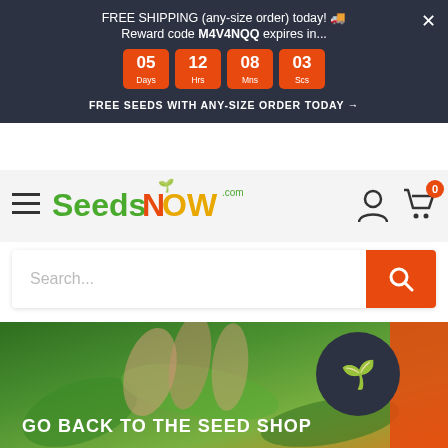FREE SHIPPING (any-size order) today! 🚚 Reward code M4V4NQQ expires in...
[Figure (other): Countdown timer showing 05 Days, 12 Hrs, 08 Mns, 03 Scs in orange boxes]
FREE SEEDS WITH ANY-SIZE ORDER TODAY →
[Figure (logo): SeedsNOW.com logo with green Seeds, orange N, yellow OW text]
Search...
[Figure (photo): Hands holding green plant/basil leaves hero image with text GO BACK TO THE SEED SHOP]